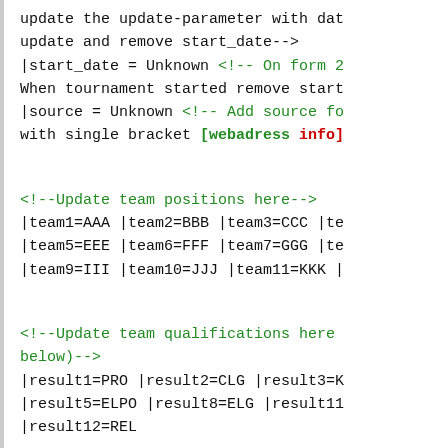update the update-parameter with dat
update and remove start_date-->
|start_date = Unknown <!-- On form 2
When tournament started remove start
|source = Unknown <!-- Add source fo
with single bracket [webadress info]

<!--Update team positions here-->
|team1=AAA |team2=BBB |team3=CCC |te
|team5=EEE |team6=FFF |team7=GGG |te
|team9=III |team10=JJJ |team11=KKK |

<!--Update team qualifications here
below)-->
|result1=PRO |result2=CLG |result3=K
|result5=ELPO |result8=ELG |result11
|result12=REL